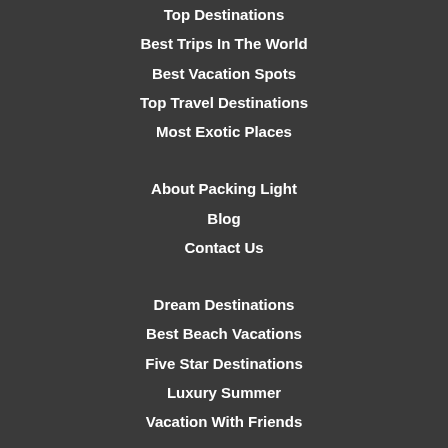Top Destinations
Best Trips In The World
Best Vacation Spots
Top Travel Destinations
Most Exotic Places
About Packing Light
Blog
Contact Us
Dream Destinations
Best Beach Vacations
Five Star Destinations
Luxury Summer
Vacation With Friends